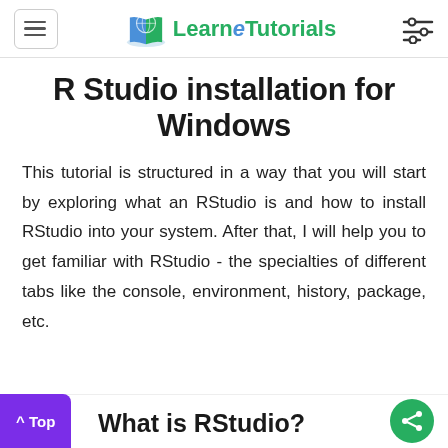Learn e Tutorials
R Studio installation for Windows
This tutorial is structured in a way that you will start by exploring what an RStudio is and how to install RStudio into your system. After that, I will help you to get familiar with RStudio - the specialties of different tabs like the console, environment, history, package, etc.
What is RStudio?